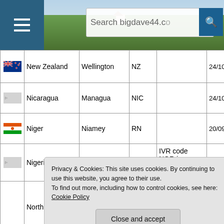Search bigdave44.co
|  | Country | Capital | Code | Notes | Date |
| --- | --- | --- | --- | --- | --- |
| [flag] | New Zealand | Wellington | NZ |  | 24/10 |
| [flag] | Nicaragua | Managua | NIC |  | 24/10 |
| [flag] | Niger | Niamey | RN |  | 20/09 |
| [flag] | Nigeria | Abuja | WAN | IVR code NGR in Chambers | 07/10 |
|  | North Korea |  |  | see Democratic People's Republic of |  |
|  |  | Belfast |  | Kingdom of Great Britain |  |
Privacy & Cookies: This site uses cookies. By continuing to use this website, you agree to their use.
To find out more, including how to control cookies, see here: Cookie Policy
Close and accept